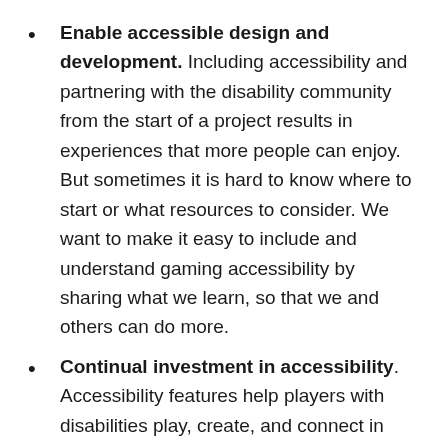Enable accessible design and development. Including accessibility and partnering with the disability community from the start of a project results in experiences that more people can enjoy. But sometimes it is hard to know where to start or what resources to consider. We want to make it easy to include and understand gaming accessibility by sharing what we learn, so that we and others can do more.
Continual investment in accessibility. Accessibility features help players with disabilities play, create, and connect in their own way. We are committed to continually innovating and partnering with the community to consistently deliver